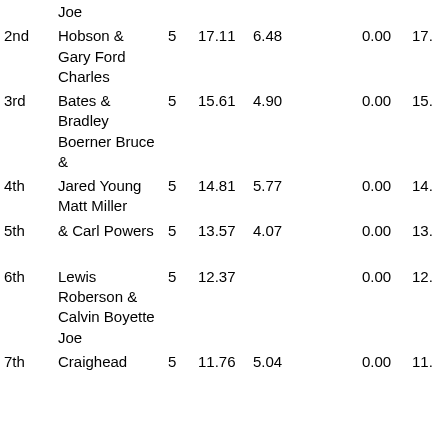| Place | Name | Num | Val1 | Val2 |  | Val3 | Val4 |
| --- | --- | --- | --- | --- | --- | --- | --- |
|  | Joe |  |  |  |  |  |  |
| 2nd | Hobson & Gary Ford Charles | 5 | 17.11 | 6.48 |  | 0.00 | 17. |
| 3rd | Bates & Bradley Boerner Bruce & | 5 | 15.61 | 4.90 |  | 0.00 | 15. |
| 4th | Jared Young Matt Miller | 5 | 14.81 | 5.77 |  | 0.00 | 14. |
| 5th | & Carl Powers | 5 | 13.57 | 4.07 |  | 0.00 | 13. |
| 6th | Lewis Roberson & Calvin Boyette Joe | 5 | 12.37 |  |  | 0.00 | 12. |
| 7th | Craighead | 5 | 11.76 | 5.04 |  | 0.00 | 11. |